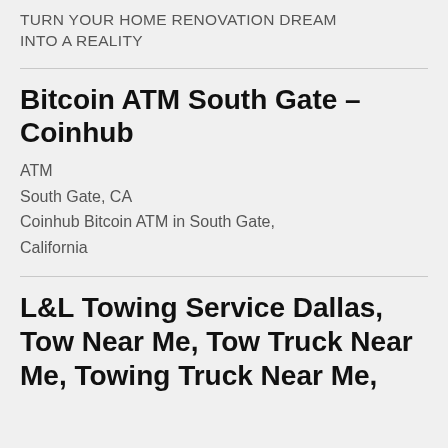TURN YOUR HOME RENOVATION DREAM INTO A REALITY
Bitcoin ATM South Gate – Coinhub
ATM
South Gate, CA
Coinhub Bitcoin ATM in South Gate, California
L&L Towing Service Dallas, Tow Near Me, Tow Truck Near Me, Towing Truck Near Me,